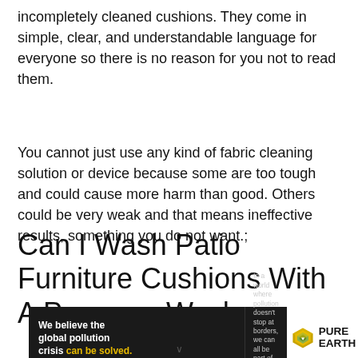incompletely cleaned cushions. They come in simple, clear, and understandable language for everyone so there is no reason for you not to read them.
You cannot just use any kind of fabric cleaning solution or device because some are too tough and could cause more harm than good. Others could be very weak and that means ineffective results, something you do not want.;
Can I Wash Patio Furniture Cushions With A Pressure Washer
[Figure (infographic): Pure Earth advertisement banner. Black background on left with text: 'We believe the global pollution crisis can be solved.' (can be solved in yellow). Middle section with small text: 'In a world where pollution doesn't stop at borders, we can all be part of the solution.' and 'JOIN US.' in yellow. Right side white background with Pure Earth logo (diamond/shield icon in gold/green) and 'PURE EARTH' text in bold.]
↓